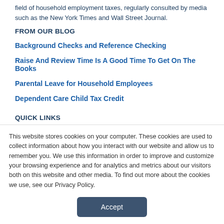field of household employment taxes, regularly consulted by media such as the New York Times and Wall Street Journal.
FROM OUR BLOG
Background Checks and Reference Checking
Raise And Review Time Is A Good Time To Get On The Books
Parental Leave for Household Employees
Dependent Care Child Tax Credit
QUICK LINKS
This website stores cookies on your computer. These cookies are used to collect information about how you interact with our website and allow us to remember you. We use this information in order to improve and customize your browsing experience and for analytics and metrics about our visitors both on this website and other media. To find out more about the cookies we use, see our Privacy Policy.